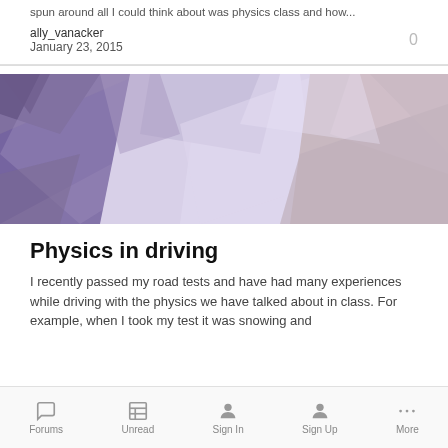spun around all I could think about was physics class and how...
ally_vanacker
January 23, 2015
[Figure (illustration): Abstract low-poly geometric background in shades of purple, lavender, and mauve]
Physics in driving
I recently passed my road tests and have had many experiences while driving with the physics we have talked about in class. For example, when I took my test it was snowing and
Forums   Unread   Sign In   Sign Up   More